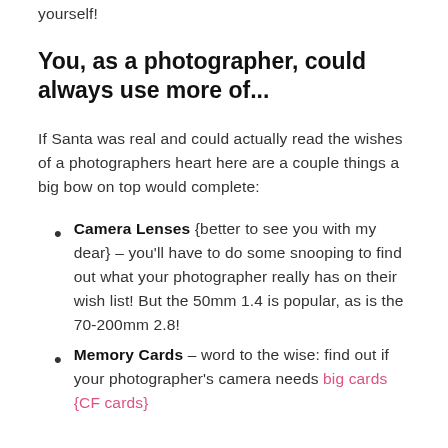yourself!
You, as a photographer, could always use more of...
If Santa was real and could actually read the wishes of a photographers heart here are a couple things a big bow on top would complete:
Camera Lenses {better to see you with my dear} – you'll have to do some snooping to find out what your photographer really has on their wish list! But the 50mm 1.4 is popular, as is the 70-200mm 2.8!
Memory Cards – word to the wise: find out if your photographer's camera needs big cards {CF cards}